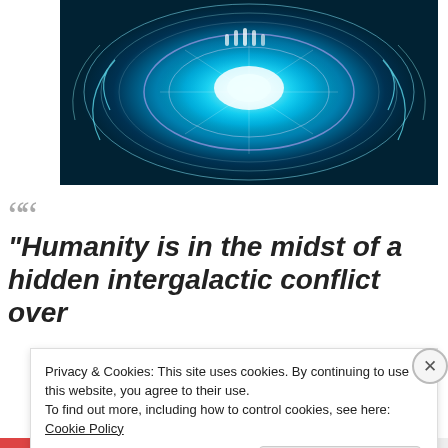[Figure (illustration): Abstract blue glowing mandala / energy vortex digital artwork with cyan and white light patterns on dark blue background]
““
“Humanity is in the midst of a hidden intergalactic conflict over
Privacy & Cookies: This site uses cookies. By continuing to use this website, you agree to their use.
To find out more, including how to control cookies, see here: Cookie Policy
Close and accept